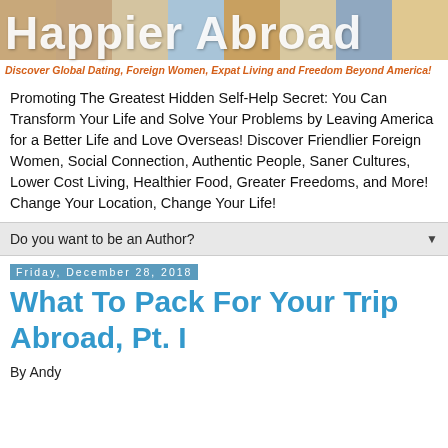[Figure (photo): Happier Abroad website banner header with photo collage of people and travel scenes, large white text reading 'Happier Abroad', subtitle in orange italic: 'Discover Global Dating, Foreign Women, Expat Living and Freedom Beyond America!']
Promoting The Greatest Hidden Self-Help Secret: You Can Transform Your Life and Solve Your Problems by Leaving America for a Better Life and Love Overseas! Discover Friendlier Foreign Women, Social Connection, Authentic People, Saner Cultures, Lower Cost Living, Healthier Food, Greater Freedoms, and More! Change Your Location, Change Your Life!
Do you want to be an Author?
Friday, December 28, 2018
What To Pack For Your Trip Abroad, Pt. I
By Andy